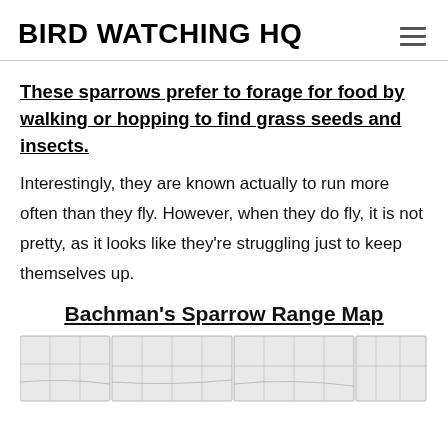BIRD WATCHING HQ
These sparrows prefer to forage for food by walking or hopping to find grass seeds and insects.
Interestingly, they are known actually to run more often than they fly. However, when they do fly, it is not pretty, as it looks like they're struggling just to keep themselves up.
Bachman's Sparrow Range Map
[Figure (map): Partial view of a Bachman's Sparrow range map showing outline of US states in light gray]